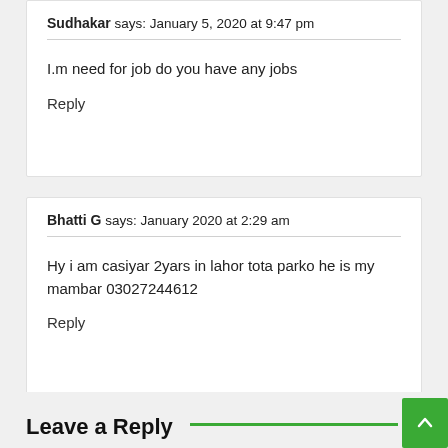Sudhakar says: January 5, 2020 at 9:47 pm
I.m need for job do you have any jobs
Reply
Bhatti G says: January 2020 at 2:29 am
Hy i am casiyar 2yars in lahor tota parko he is my mambar 03027244612
Reply
Leave a Reply